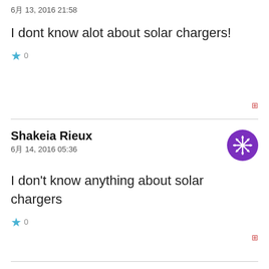6月 13, 2016 21:58
I dont know alot about solar chargers!
★ 0
Shakeia Rieux
6月 14, 2016 05:36
I don't know anything about solar chargers
★ 0